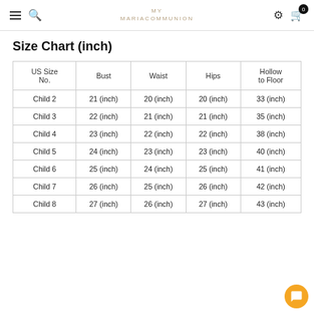MARIACOMMUNION
Size Chart (inch)
| US Size No. | Bust | Waist | Hips | Hollow to Floor |
| --- | --- | --- | --- | --- |
| Child 2 | 21 (inch) | 20 (inch) | 20 (inch) | 33 (inch) |
| Child 3 | 22 (inch) | 21 (inch) | 21 (inch) | 35 (inch) |
| Child 4 | 23 (inch) | 22 (inch) | 22 (inch) | 38 (inch) |
| Child 5 | 24 (inch) | 23 (inch) | 23 (inch) | 40 (inch) |
| Child 6 | 25 (inch) | 24 (inch) | 25 (inch) | 41 (inch) |
| Child 7 | 26 (inch) | 25 (inch) | 26 (inch) | 42 (inch) |
| Child 8 | 27 (inch) | 26 (inch) | 27 (inch) | 43 (inch) |